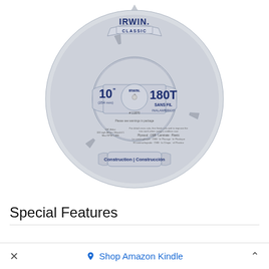[Figure (photo): IRWIN Classic 10-inch (254 mm) 180T circular saw blade for cordless (Sans Fil / Inalambrico) use. Silver blade with blue text showing brand name IRWIN, model Classic, size 10" (254mm), 180 teeth, #11870. For plywood, OSB, laminate, plastic. Construction/Construccion use.]
Special Features
× Shop Amazon Kindle ^